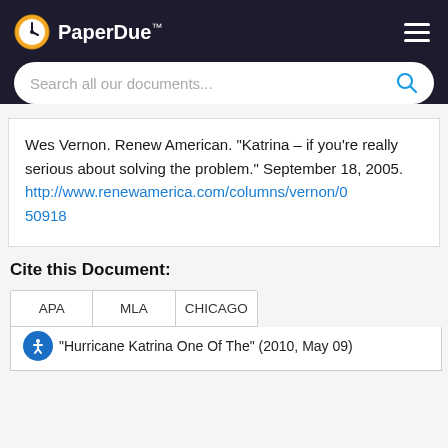PaperDue™
Wes Vernon. Renew American. "Katrina – if you're really serious about solving the problem." September 18, 2005. http://www.renewamerica.com/columns/vernon/050918
Cite this Document:
| APA | MLA | CHICAGO |
| --- | --- | --- |
"Hurricane Katrina One Of The" (2010, May 09)